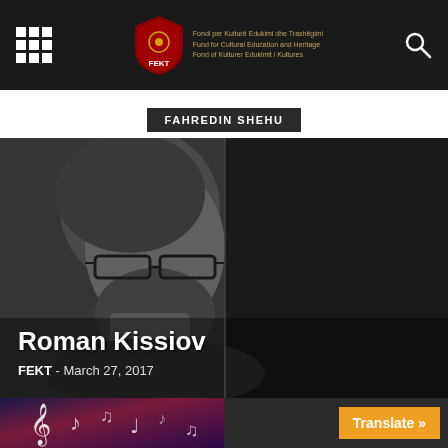FEKT - Fondi per Kulturë Edukimi dhe Trashëgimi / Fund for Cultural Education and Heritage / Fond of Kulturer Edukimit i Kultures
FAHREDIN SHEHU
[Figure (photo): Black and white photo of a bearded man wearing glasses, shown in profile/three-quarter view against a dark background]
Roman Kissiov
FEKT - March 27, 2017
[Figure (photo): Thumbnail showing colorful music notes on dark background]
Translate »